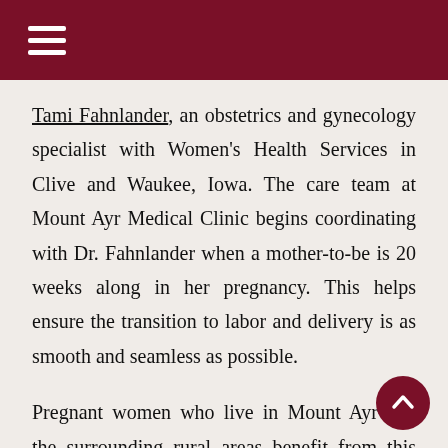≡
Tami Fahnlander, an obstetrics and gynecology specialist with Women's Health Services in Clive and Waukee, Iowa. The care team at Mount Ayr Medical Clinic begins coordinating with Dr. Fahnlander when a mother-to-be is 20 weeks along in her pregnancy. This helps ensure the transition to labor and delivery is as smooth and seamless as possible.
Pregnant women who live in Mount Ayr and the surrounding rural areas benefit from this arrangement by receiving comprehensive, high-quality prenatal and OB-GYN care, while cutting down on travel time and costs by reducing the number of trips they need to make into the city.